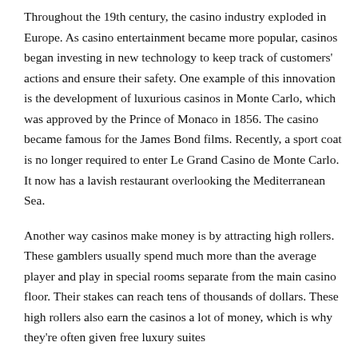Throughout the 19th century, the casino industry exploded in Europe. As casino entertainment became more popular, casinos began investing in new technology to keep track of customers' actions and ensure their safety. One example of this innovation is the development of luxurious casinos in Monte Carlo, which was approved by the Prince of Monaco in 1856. The casino became famous for the James Bond films. Recently, a sport coat is no longer required to enter Le Grand Casino de Monte Carlo. It now has a lavish restaurant overlooking the Mediterranean Sea.
Another way casinos make money is by attracting high rollers. These gamblers usually spend much more than the average player and play in special rooms separate from the main casino floor. Their stakes can reach tens of thousands of dollars. These high rollers also earn the casinos a lot of money, which is why they're often given free luxury suites